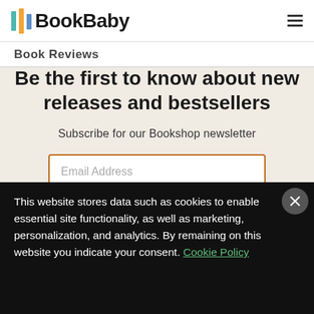BookBaby
Book Reviews
Be the first to know about new releases and bestsellers
Subscribe for our Bookshop newsletter
Email Address
This website stores data such as cookies to enable essential site functionality, as well as marketing, personalization, and analytics. By remaining on this website you indicate your consent. Cookie Policy